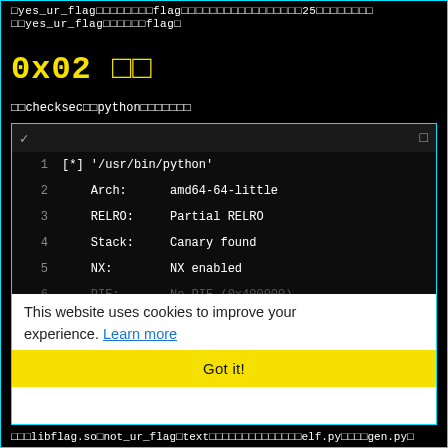□yes_ur_flag□□□□□□□□□flag□□□□□□□□□□□□□□□□□□□□25□□□□□□□□
□□yes_ur_flag□□□□□□flag□
0x02 □□
□□checksec□□python□□□□□□□
[Figure (screenshot): Terminal/code block showing checksec output for /usr/bin/python: Arch: amd64-64-little, RELRO: Partial RELRO, Stack: Canary found, NX: NX enabled, PIE: No PIE (0x400000), FORTIFY: Enabled. Lines 6-7 are dimmed. A cookie consent overlay covers the lower portion: 'This website uses cookies to improve your experience. Learn more' with a yellow 'Got it!' button.]
□□ASLR□□□so□□□□python□□□□□□
□□□libflag.so□not_ur_flag□text□□□□□□□□□□□□□□elf.py□□□□gen.py□